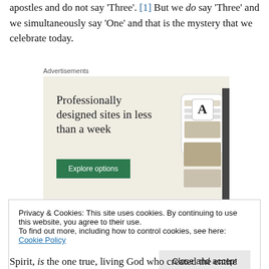apostles and do not say 'Three'. [1] But we do say 'Three' and we simultaneously say 'One' and that is the mystery that we celebrate today.
[Figure (illustration): Advertisement banner with beige background. Headline: 'Professionally designed sites in less than a week'. Green 'Explore options' button. Phone/website mockup graphics on right side.]
Privacy & Cookies: This site uses cookies. By continuing to use this website, you agree to their use.
To find out more, including how to control cookies, see here: Cookie Policy
Spirit, is the one true, living God who created the entire